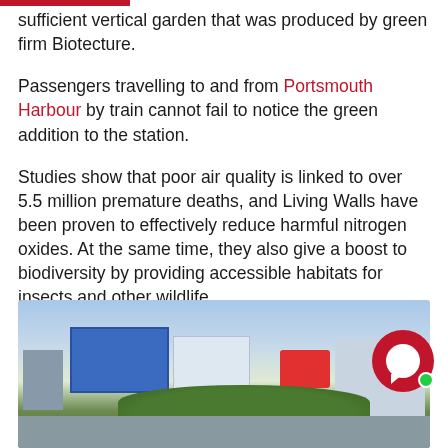sufficient vertical garden that was produced by green firm Biotecture.
Passengers travelling to and from Portsmouth Harbour by train cannot fail to notice the green addition to the station.
Studies show that poor air quality is linked to over 5.5 million premature deaths, and Living Walls have been proven to effectively reduce harmful nitrogen oxides. At the same time, they also give a boost to biodiversity by providing accessible habitats for insects and other wildlife.
[Figure (photo): Exterior photograph of Portsmouth Harbour station area showing a large blue information sign, white building blocks, a rounded white building on the right with a red sign, trees and greenery in front, and a road in the foreground under a partly cloudy sky.]